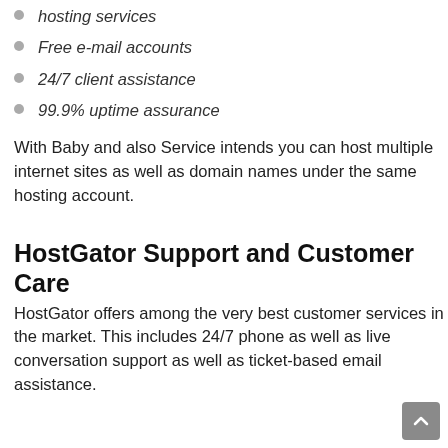hosting services
Free e-mail accounts
24/7 client assistance
99.9% uptime assurance
With Baby and also Service intends you can host multiple internet sites as well as domain names under the same hosting account.
HostGator Support and Customer Care
HostGator offers among the very best customer services in the market. This includes 24/7 phone as well as live conversation support as well as ticket-based email assistance.